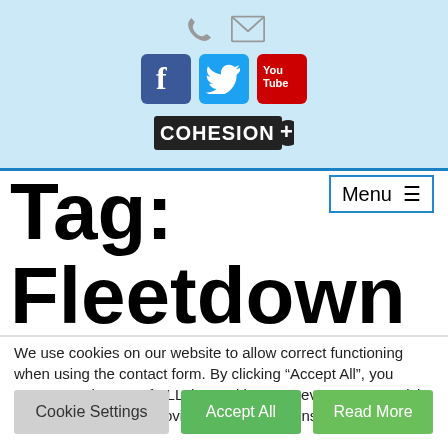[Figure (logo): Website header with phone icon, mail icon, Facebook, Twitter, YouTube social icons, and Cohesion+ logo on light blue background]
Tag:
Fleetdown
We use cookies on our website to allow correct functioning when using the contact form. By clicking “Accept All”, you consent to the use of ALL the cookies. However, you may visit "Cookie Settings" to provide a controlled consent.
Cookie Settings
Accept All
Read More